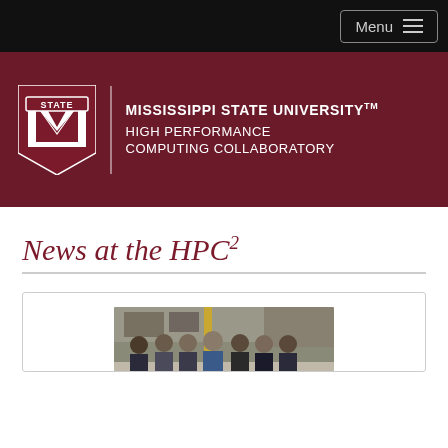Menu
[Figure (logo): Mississippi State University High Performance Computing Collaboratory logo with MSU block-M shield on maroon banner background]
News at the HPC²
[Figure (photo): Group photo of approximately 7 people standing in what appears to be a computing/server room or laboratory]